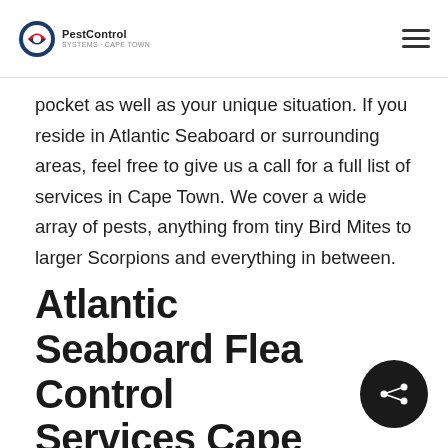PestControl
pocket as well as your unique situation. If you reside in Atlantic Seaboard or surrounding areas, feel free to give us a call for a full list of services in Cape Town. We cover a wide array of pests, anything from tiny Bird Mites to larger Scorpions and everything in between.
Atlantic Seaboard Flea Control Services Cape Town